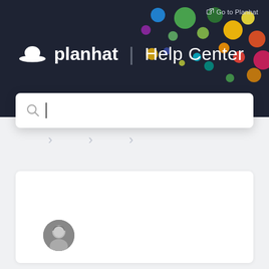[Figure (screenshot): Planhat Help Center website screenshot showing dark navy header with colorful bubble decorations, planhat logo with hat icon, Help Center title, search bar, navigation chevrons, and a card with avatar below]
Go to Planhat
planhat | Help Center